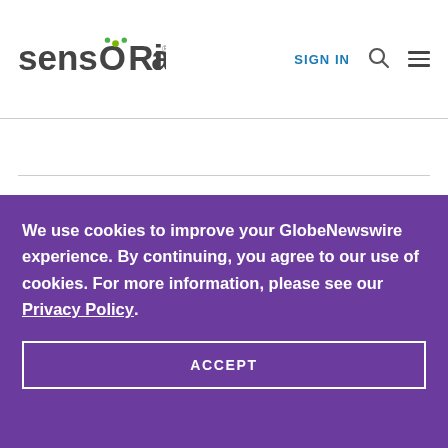sensoria  SIGN IN
We use cookies to improve your GlobeNewswire experience. By continuing, you agree to our use of cookies. For more information, please see our Privacy Policy.
ACCEPT